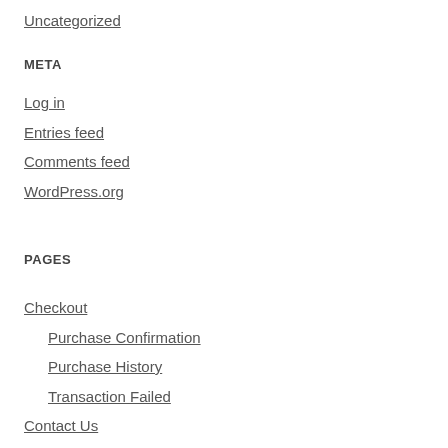Uncategorized
META
Log in
Entries feed
Comments feed
WordPress.org
PAGES
Checkout
Purchase Confirmation
Purchase History
Transaction Failed
Contact Us
Gaming Disc